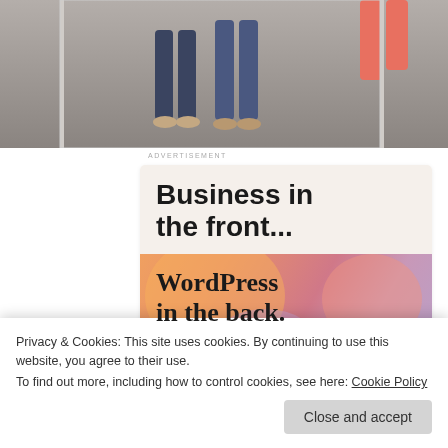[Figure (photo): Photograph showing legs/feet of people standing on a smooth floor, cropped at the top portion of the page.]
Advertisement
[Figure (infographic): WordPress advertisement banner with two sections: top beige section reading 'Business in the front...' and bottom colorful (orange/pink gradient with blobs) section reading 'WordPress in the back.']
Privacy & Cookies: This site uses cookies. By continuing to use this website, you agree to their use.
To find out more, including how to control cookies, see here: Cookie Policy
drive and might have reached to Dharamshala by